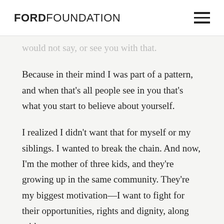FORD FOUNDATION
…would not say, or see you with that.
Because in their mind I was part of a pattern, and when that's all people see in you that's what you start to believe about yourself.
I realized I didn't want that for myself or my siblings. I wanted to break the chain. And now, I'm the mother of three kids, and they're growing up in the same community. They're my biggest motivation—I want to fight for their opportunities, rights and dignity, along with my own.
Finding a home in…